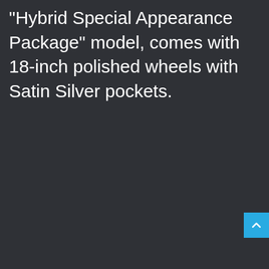"Hybrid Special Appearance Package" model, comes with 18-inch polished wheels with Satin Silver pockets.
[Figure (other): Blue scroll-to-top button with upward caret (chevron) icon in the bottom-right corner of the page]